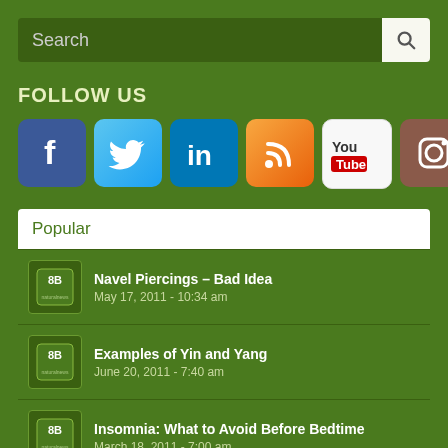Search
FOLLOW US
[Figure (infographic): Social media icons row: Facebook, Twitter, LinkedIn, RSS, YouTube, Instagram]
Popular
Navel Piercings – Bad Idea | May 17, 2011 - 10:34 am
Examples of Yin and Yang | June 20, 2011 - 7:40 am
Insomnia: What to Avoid Before Bedtime | March 18, 2011 - 7:00 am